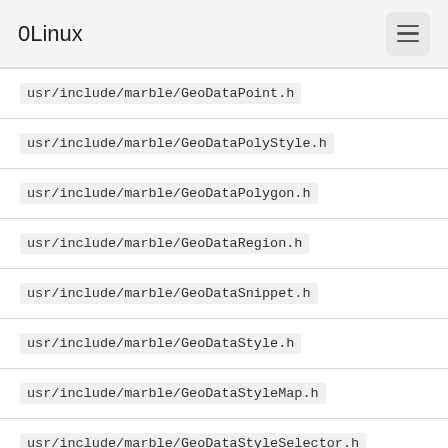0Linux
usr/include/marble/GeoDataPoint.h
usr/include/marble/GeoDataPolyStyle.h
usr/include/marble/GeoDataPolygon.h
usr/include/marble/GeoDataRegion.h
usr/include/marble/GeoDataSnippet.h
usr/include/marble/GeoDataStyle.h
usr/include/marble/GeoDataStyleMap.h
usr/include/marble/GeoDataStyleSelector.h
usr/include/marble/GeoDataTimePrimitive.h
usr/include/marble/GeoDataTimeSpan.h
usr/include/marble/GeoDataTimeStamp.h